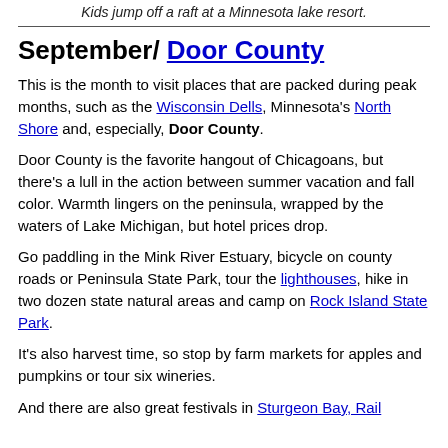Kids jump off a raft at a Minnesota lake resort.
September/ Door County
This is the month to visit places that are packed during peak months, such as the Wisconsin Dells, Minnesota's North Shore and, especially, Door County.
Door County is the favorite hangout of Chicagoans, but there's a lull in the action between summer vacation and fall color. Warmth lingers on the peninsula, wrapped by the waters of Lake Michigan, but hotel prices drop.
Go paddling in the Mink River Estuary, bicycle on county roads or Peninsula State Park, tour the lighthouses, hike in two dozen state natural areas and camp on Rock Island State Park.
It's also harvest time, so stop by farm markets for apples and pumpkins or tour six wineries.
And there are also great festivals in Sturgeon Bay, Rail...